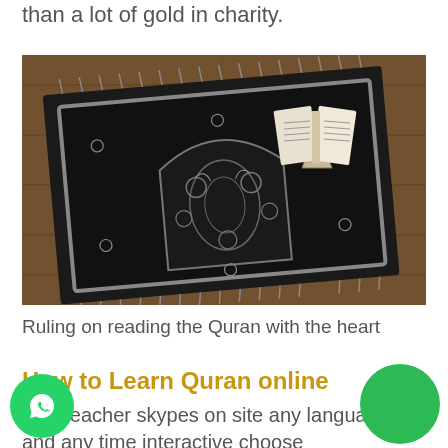than a lot of gold in charity.
[Figure (photo): Top-down view of a black prayer rug with ornate floral and arch pattern, fringe edges, with an open Quran on a wooden stand placed on the rug, all on a wooden floor.]
Ruling on reading the Quran with the heart
How to Learn Quran online
abic teacher skypes on site any language and any time interactive choose